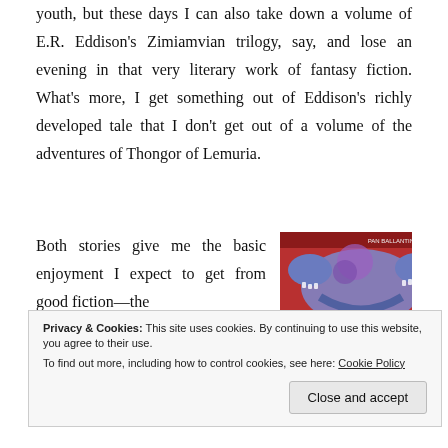youth, but these days I can also take down a volume of E.R. Eddison's Zimiamvian trilogy, say, and lose an evening in that very literary work of fantasy fiction. What's more, I get something out of Eddison's richly developed tale that I don't get out of a volume of the adventures of Thongor of Lemuria.
Both stories give me the basic enjoyment I expect to get from good fiction—the
[Figure (illustration): Book cover of 'The Mezentian Gate' by E.R. Eddison, Pan Ballantine edition. Features a blue dragon creature on a red background with the title and author name.]
sequence of events makes
Privacy & Cookies: This site uses cookies. By continuing to use this website, you agree to their use.
To find out more, including how to control cookies, see here: Cookie Policy